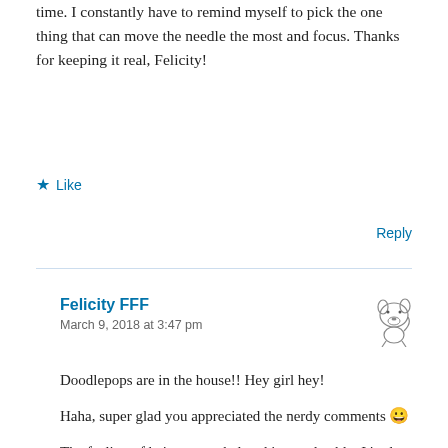time. I constantly have to remind myself to pick the one thing that can move the needle the most and focus. Thanks for keeping it real, Felicity!
★ Like
Reply
Felicity FFF
March 9, 2018 at 3:47 pm
[Figure (illustration): Small cartoon drawing of a dog/bear character]
Doodlepops are in the house!! Hey girl hey!
Haha, super glad you appreciated the nerdy comments 😀
The feeling of being overwhelmed is so relatable. It's also one of the reasons I want to slap some of the